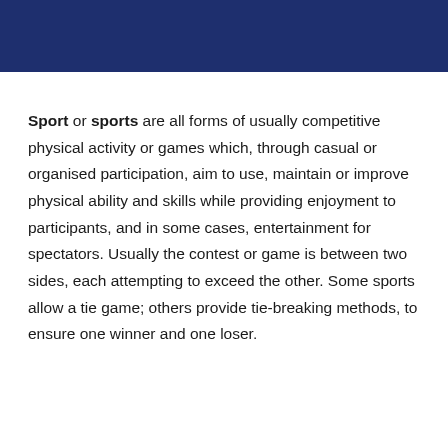Sport or sports are all forms of usually competitive physical activity or games which, through casual or organised participation, aim to use, maintain or improve physical ability and skills while providing enjoyment to participants, and in some cases, entertainment for spectators. Usually the contest or game is between two sides, each attempting to exceed the other. Some sports allow a tie game; others provide tie-breaking methods, to ensure one winner and one loser.